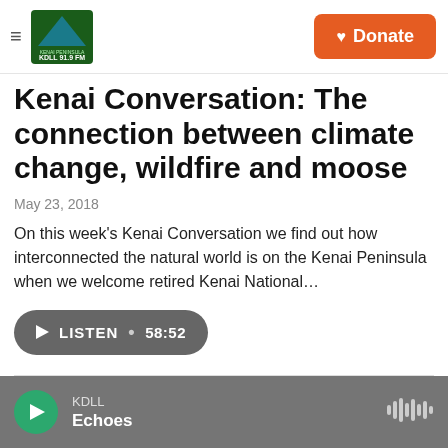KDLL FM — Donate
Kenai Conversation: The connection between climate change, wildfire and moose
May 23, 2018
On this week's Kenai Conversation we find out how interconnected the natural world is on the Kenai Peninsula when we welcome retired Kenai National…
LISTEN • 58:52
KDLL Echoes